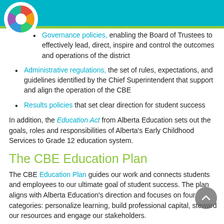Governance policies, enabling the Board of Trustees to effectively lead, direct, inspire and control the outcomes and operations of the district
Administrative regulations, the set of rules, expectations, and guidelines identified by the Chief Superintendent that support and align the operation of the CBE
Results policies that set clear direction for student success
In addition, the Education Act from Alberta Education sets out the goals, roles and responsibilities of Alberta's Early Childhood Services to Grade 12 education system.
The CBE Education Plan
The CBE Education Plan guides our work and connects students and employees to our ultimate goal of student success. The plan aligns with Alberta Education's direction and focuses on four categories: personalize learning, build professional capital, steward our resources and engage our stakeholders.